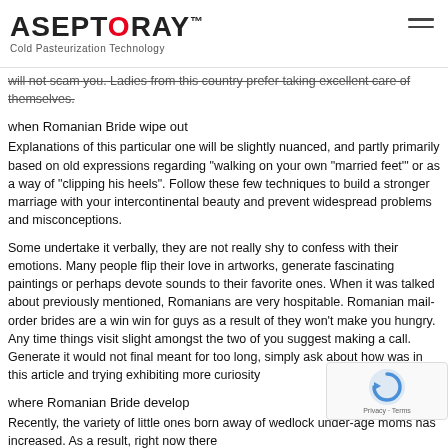ASEPTORAY™ Cold Pasteurization Technology
will not scam you. Ladies from this country prefer taking excellent care of themselves.
when Romanian Bride wipe out
Explanations of this particular one will be slightly nuanced, and partly primarily based on old expressions regarding "walking on your own "married feet'" or as a way of "clipping his heels". Follow these few techniques to build a stronger marriage with your intercontinental beauty and prevent widespread problems and misconceptions.
Some undertake it verbally, they are not really shy to confess with their emotions. Many people flip their love in artworks, generate fascinating paintings or perhaps devote sounds to their favorite ones. When it was talked about previously mentioned, Romanians are very hospitable. Romanian mail-order brides are a win win for guys as a result of they won't make you hungry. Any time things visit slight amongst the two of you suggest making a call. Generate it would not final meant for too long, simply ask about how was in this article and trying exhibiting more curiosity
where Romanian Bride develop
Recently, the variety of little ones born away of wedlock under-age moms has increased. As a result, right now there
[Figure (logo): reCAPTCHA logo with Privacy and Terms text]